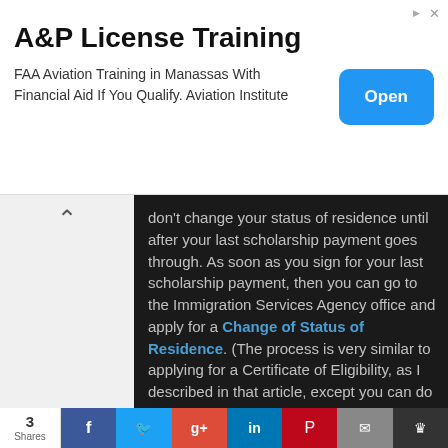[Figure (screenshot): Advertisement banner for A&P License Training. Title: 'A&P License Training'. Subtitle: 'FAA Aviation Training in Manassas With Financial Aid If You Qualify. Aviation Institute'. Blue 'Open' button on the right.]
don't change your status of residence until after your last scholarship payment goes through. As soon as you sign for your last scholarship payment, then you can go to the Immigration Services Agency office and apply for a Change of Status of Residence. (The process is very similar to applying for a Certificate of Eligibility, as I described in that article, except you can do it while in Japan.)
3 Shares  [Facebook] [Twitter] [Google+] [LinkedIn] [Pinterest] [Email] [Crown]